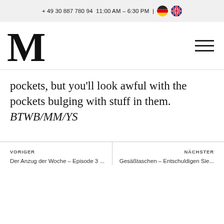+ 49 30 887 780 94  11:00 AM – 6:30 PM  |
[Figure (logo): Large serif M logo for navigation header, with hamburger menu icon on right]
pockets, but you'll look awful with the pockets bulging with stuff in them. BTWB/MM/YS
VORIGER
Der Anzug der Woche – Episode 3 ...
NÄCHSTER
Gesäßtaschen – Entschuldigen Sie...